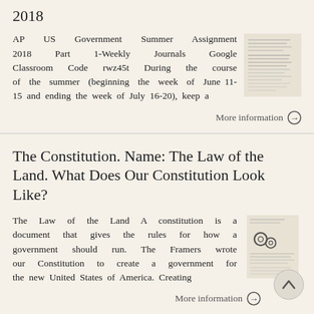AP US Government Summer Assignment 2018
AP US Government Summer Assignment 2018 Part 1-Weekly Journals Google Classroom Code rwz45t During the course of the summer (beginning the week of June 11-15 and ending the week of July 16-20), keep a
More information →
The Constitution. Name: The Law of the Land. What Does Our Constitution Look Like?
The Law of the Land A constitution is a document that gives the rules for how a government should run. The Framers wrote our Constitution to create a government for the new United States of America. Creating
More information →